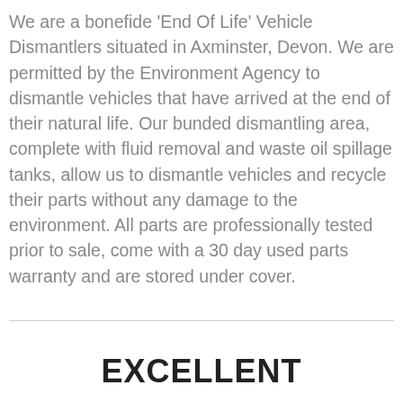We are a bonefide 'End Of Life' Vehicle Dismantlers situated in Axminster, Devon. We are permitted by the Environment Agency to dismantle vehicles that have arrived at the end of their natural life. Our bunded dismantling area, complete with fluid removal and waste oil spillage tanks, allow us to dismantle vehicles and recycle their parts without any damage to the environment. All parts are professionally tested prior to sale, come with a 30 day used parts warranty and are stored under cover.
EXCELLENT